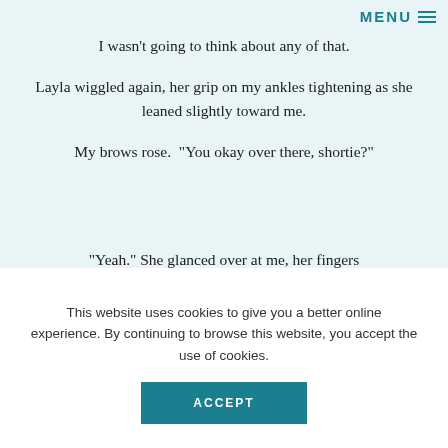MENU
I wasn't going to think about any of that.
Layla wiggled again, her grip on my ankles tightening as she leaned slightly toward me.
My brows rose. “You okay over there, shortie?”
“Yeah.” She glanced over at me, her fingers
This website uses cookies to give you a better online experience. By continuing to browse this website, you accept the use of cookies.
ACCEPT